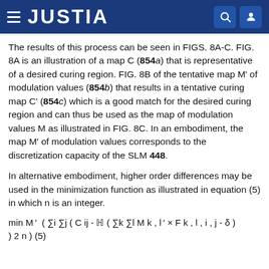JUSTIA
The results of this process can be seen in FIGS. 8A-C. FIG. 8A is an illustration of a map C (854a) that is representative of a desired curing region. FIG. 8B of the tentative map M' of modulation values (854b) that results in a tentative curing map C' (854c) which is a good match for the desired curing region and can thus be used as the map of modulation values M as illustrated in FIG. 8C. In an embodiment, the map M' of modulation values corresponds to the discretization capacity of the SLM 448.
In alternative embodiment, higher order differences may be used in the minimization function as illustrated in equation (5) in which n is an integer.